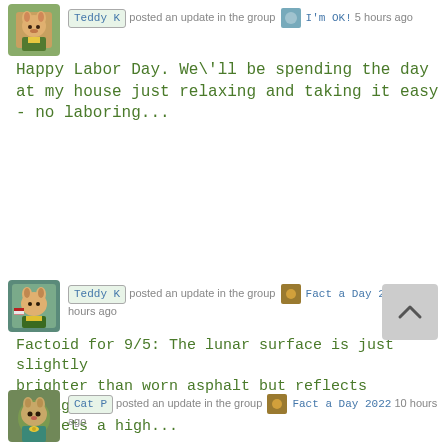[Figure (screenshot): Social media post by Teddy K with avatar of cartoon fox in scout uniform, posted an update in the group I'm OK! 5 hours ago]
Happy Labor Day. We'll be spending the day at my house just relaxing and taking it easy - no laboring...
[Figure (screenshot): Social media post header by Teddy K posted an update in the group Fact a Day 2022 5 hours ago]
Factoid for 9/5: The lunar surface is just slightly brighter than worn asphalt but reflects sunlight and gets a high...
[Figure (screenshot): Social media post header by Cat P posted an update in the group Fact a Day 2022 10 hours ago]